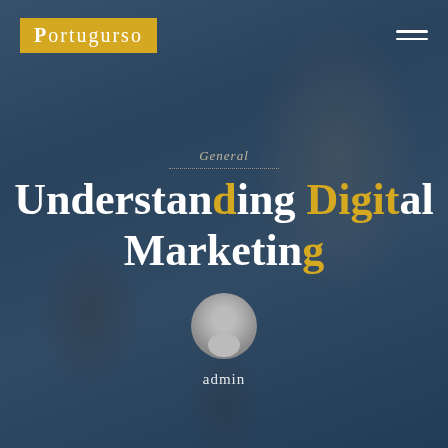[Figure (photo): Background photo of business people in a meeting, with a dark blue semi-transparent overlay. A man in a white shirt and dark tie is visible.]
Portugurso
General
Understanding Digital Marketing
admin